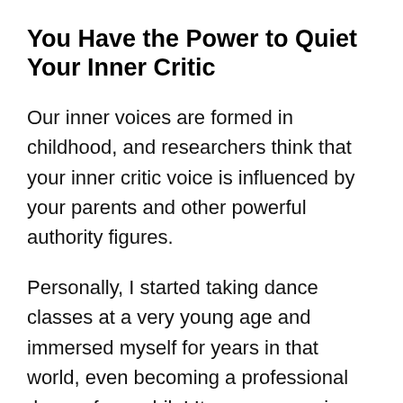You Have the Power to Quiet Your Inner Critic
Our inner voices are formed in childhood, and researchers think that your inner critic voice is influenced by your parents and other powerful authority figures.
Personally, I started taking dance classes at a very young age and immersed myself for years in that world, even becoming a professional dancer for a while! It was no surprise, then, that my inner critic started regurgitating some of the things that my